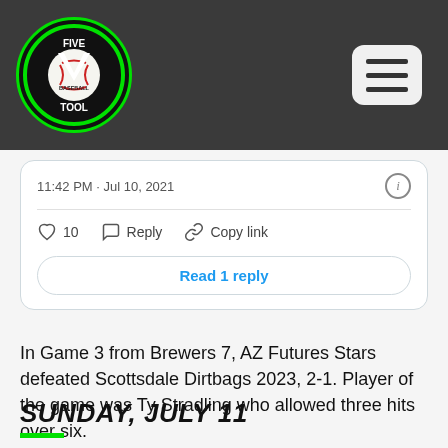Five Tool Baseball logo and navigation menu
11:42 PM · Jul 10, 2021
10  Reply  Copy link
Read 1 reply
In Game 3 from Brewers 7, AZ Futures Stars defeated Scottsdale Dirtbags 2023, 2-1. Player of the game was Ty Stradling who allowed three hits over six.
SUNDAY, JULY 11